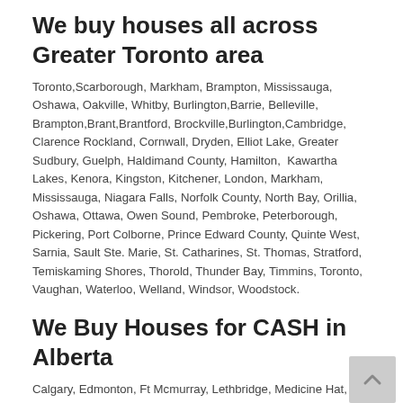We buy houses all across Greater Toronto area
Toronto,Scarborough, Markham, Brampton, Mississauga, Oshawa, Oakville, Whitby, Burlington,Barrie, Belleville, Brampton,Brant,Brantford, Brockville,Burlington,Cambridge, Clarence Rockland, Cornwall, Dryden, Elliot Lake, Greater Sudbury, Guelph, Haldimand County, Hamilton,  Kawartha Lakes, Kenora, Kingston, Kitchener, London, Markham, Mississauga, Niagara Falls, Norfolk County, North Bay, Orillia, Oshawa, Ottawa, Owen Sound, Pembroke, Peterborough, Pickering, Port Colborne, Prince Edward County, Quinte West, Sarnia, Sault Ste. Marie, St. Catharines, St. Thomas, Stratford, Temiskaming Shores, Thorold, Thunder Bay, Timmins, Toronto, Vaughan, Waterloo, Welland, Windsor, Woodstock.
We Buy Houses for CASH in Alberta
Calgary, Edmonton, Ft Mcmurray, Lethbridge, Medicine Hat, Peace River Country, Red Deer, Canmore.